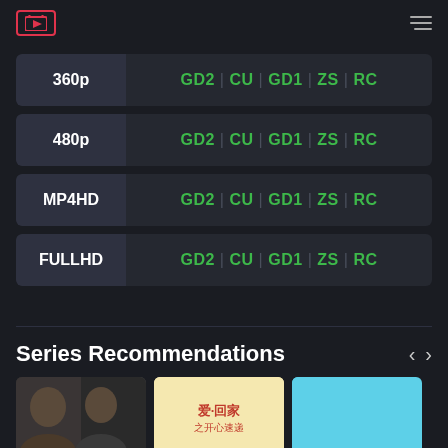TV streaming site header with logo and hamburger menu
360p | GD2 | CU | GD1 | ZS | RC
480p | GD2 | CU | GD1 | ZS | RC
MP4HD | GD2 | CU | GD1 | ZS | RC
FULLHD | GD2 | CU | GD1 | ZS | RC
Series Recommendations
[Figure (screenshot): Three thumbnail images of TV series recommendations partially visible at the bottom]